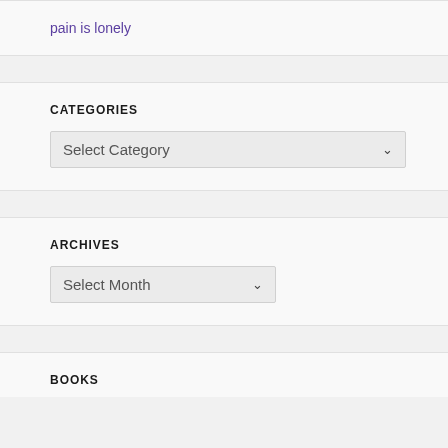pain is lonely
CATEGORIES
Select Category
ARCHIVES
Select Month
BOOKS